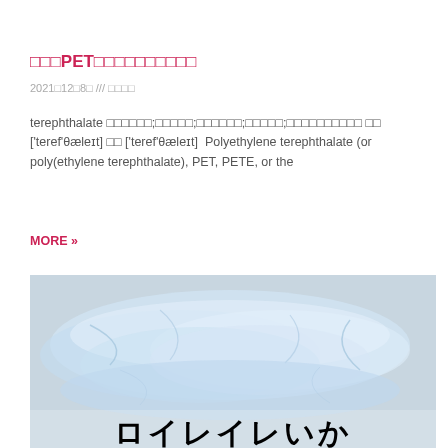□□□PET□□□□□□□□□□
2021□12□8□ /// □□□□
terephthalate □□□□□□;□□□□□;□□□□□□;□□□□□;□□□□□□□□□□ □□ ['teref'θæleɪt] □□ ['teref'θæleɪt]  Polyethylene terephthalate (or poly(ethylene terephthalate), PET, PETE, or the
MORE »
[Figure (photo): Photo of transparent plastic bags piled together with Japanese text overlay at the bottom reading ロイレイレいか or similar katakana/hiragana characters]